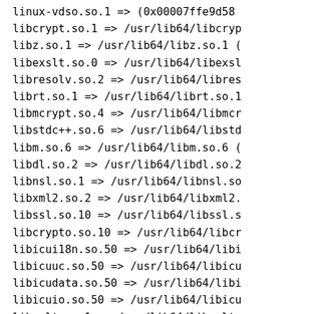linux-vdso.so.1 => (0x00007ffe9d58
libcrypt.so.1 => /usr/lib64/libcryp
libz.so.1 => /usr/lib64/libz.so.1 (
libexslt.so.0 => /usr/lib64/libexsl
libresolv.so.2 => /usr/lib64/libres
librt.so.1 => /usr/lib64/librt.so.1
libmcrypt.so.4 => /usr/lib64/libmcr
libstdc++.so.6 => /usr/lib64/libstd
libm.so.6 => /usr/lib64/libm.so.6 (
libdl.so.2 => /usr/lib64/libdl.so.2
libnsl.so.1 => /usr/lib64/libnsl.so
libxml2.so.2 => /usr/lib64/libxml2.
libssl.so.10 => /usr/lib64/libssl.s
libcrypto.so.10 => /usr/lib64/libcr
libicui18n.so.50 => /usr/lib64/libi
libicuuc.so.50 => /usr/lib64/libicu
libicudata.so.50 => /usr/lib64/libi
libicuio.so.50 => /usr/lib64/libicu
libxslt.so.1 => /usr/lib64/libxslt